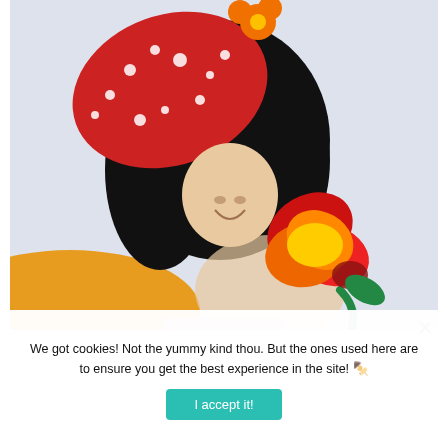[Figure (illustration): Colorful painted/clay art illustration of a girl with long black hair wearing a red polka-dot hat with an orange flower on top, holding a bouquet of large orange, yellow, red and green flowers. Background is light gray-blue. An orange arc shape appears at the lower left. A pink bar is visible at the very bottom of the image.]
We got cookies! Not the yummy kind thou. But the ones used here are to ensure you get the best experience in the site! 🍪
I accept it!